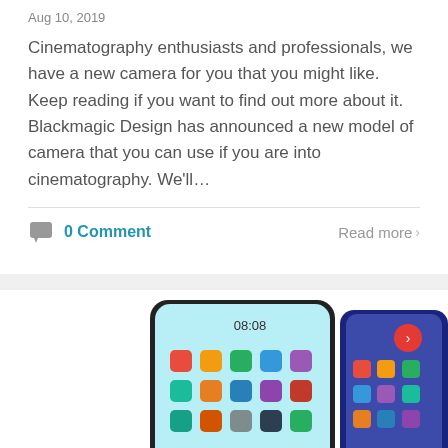Aug 10, 2019
Cinematography enthusiasts and professionals, we have a new camera for you that you might like. Keep reading if you want to find out more about it. Blackmagic Design has announced a new model of camera that you can use if you are into cinematography. We'll…
0 Comment
Read more >
[Figure (photo): Two smartphones side by side showing app icons on their screens. The left phone shows time 08:08 and app icons including a colorful array of apps. The right phone shows a red notification/record button.]